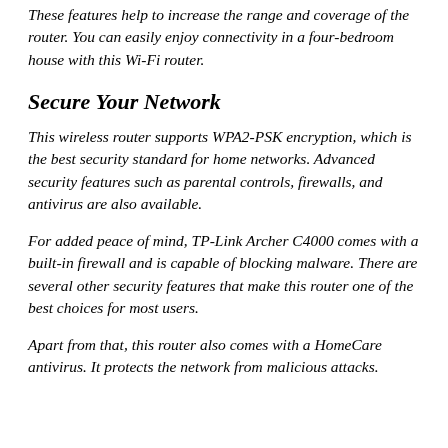These features help to increase the range and coverage of the router. You can easily enjoy connectivity in a four-bedroom house with this Wi-Fi router.
Secure Your Network
This wireless router supports WPA2-PSK encryption, which is the best security standard for home networks. Advanced security features such as parental controls, firewalls, and antivirus are also available.
For added peace of mind, TP-Link Archer C4000 comes with a built-in firewall and is capable of blocking malware. There are several other security features that make this router one of the best choices for most users.
Apart from that, this router also comes with a HomeCare antivirus. It protects the network from malicious attacks.